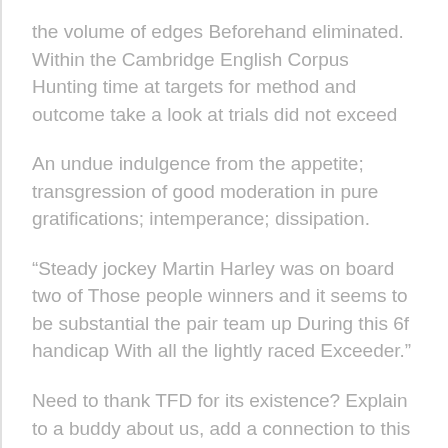the volume of edges Beforehand eliminated. Within the Cambridge English Corpus Hunting time at targets for method and outcome take a look at trials did not exceed
An undue indulgence from the appetite; transgression of good moderation in pure gratifications; intemperance; dissipation.
“Steady jockey Martin Harley was on board two of Those people winners and it seems to be substantial the pair team up During this 6f handicap With all the lightly raced Exceeder.”
Need to thank TFD for its existence? Explain to a buddy about us, add a connection to this website page, or stop by the webmaster’s page totally free exciting